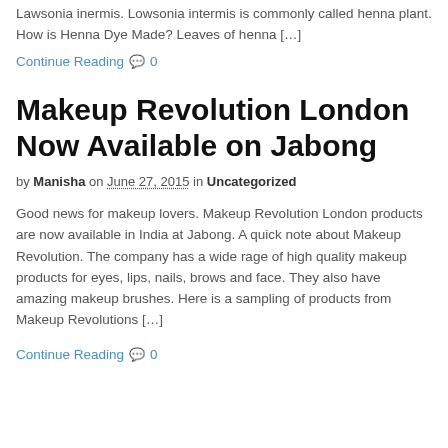Lawsonia inermis. Lowsonia intermis is commonly called henna plant. How is Henna Dye Made? Leaves of henna […]
Continue Reading 💬 0
Makeup Revolution London Now Available on Jabong
by Manisha on June 27, 2015 in Uncategorized
Good news for makeup lovers. Makeup Revolution London products are now available in India at Jabong. A quick note about Makeup Revolution. The company has a wide rage of high quality makeup products for eyes, lips, nails, brows and face. They also have amazing makeup brushes. Here is a sampling of products from Makeup Revolutions […]
Continue Reading 💬 0